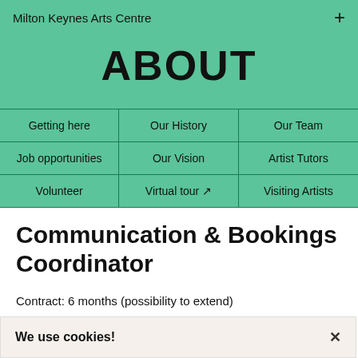Milton Keynes Arts Centre
ABOUT
Getting here
Our History
Our Team
Job opportunities
Our Vision
Artist Tutors
Volunteer
Virtual tour ↗
Visiting Artists
Communication & Bookings Coordinator
Contract: 6 months (possibility to extend)
Hours: Full-time, 37.5 hours per week
Rate of pay: £21,000 pro rata
We use cookies!